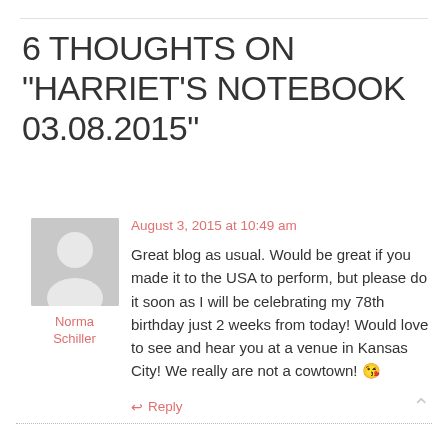6 THOUGHTS ON “HARRIET’S NOTEBOOK 03.08.2015”
[Figure (illustration): Generic grey avatar/silhouette icon for anonymous commenter]
Norma Schiller
August 3, 2015 at 10:49 am
Great blog as usual. Would be great if you made it to the USA to perform, but please do it soon as I will be celebrating my 78th birthday just 2 weeks from today! Would love to see and hear you at a venue in Kansas City! We really are not a cowtown! 😘
↩ Reply